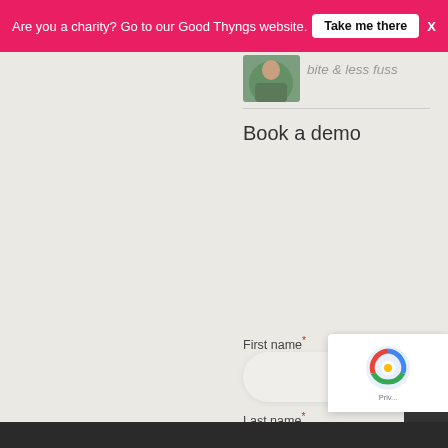Are you a charity? Go to our Good Thyngs website.  Take me there  X
[Figure (photo): Small circular crop photo of a person outdoors with green background]
bite & less fuss
Book a demo
First name*
Last name*